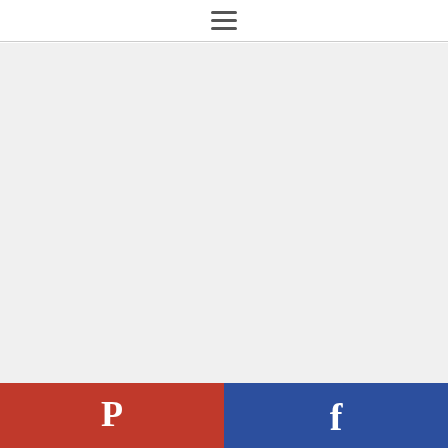≡ (hamburger menu icon)
[Figure (photo): Large image area, mostly white/light gray placeholder content (article image)]
What is better than a robot? A gliding robot of
[Figure (other): Social sharing bar with Pinterest (red) and Facebook (blue) buttons at the bottom of the page]